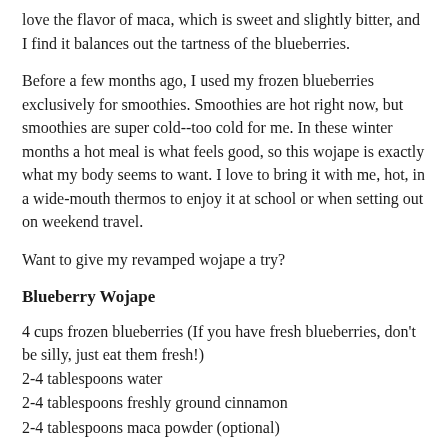love the flavor of maca, which is sweet and slightly bitter, and I find it balances out the tartness of the blueberries.
Before a few months ago, I used my frozen blueberries exclusively for smoothies. Smoothies are hot right now, but smoothies are super cold--too cold for me. In these winter months a hot meal is what feels good, so this wojape is exactly what my body seems to want. I love to bring it with me, hot, in a wide-mouth thermos to enjoy it at school or when setting out on weekend travel.
Want to give my revamped wojape a try?
Blueberry Wojape
4 cups frozen blueberries (If you have fresh blueberries, don't be silly, just eat them fresh!)
2-4 tablespoons water
2-4 tablespoons freshly ground cinnamon
2-4 tablespoons maca powder (optional)